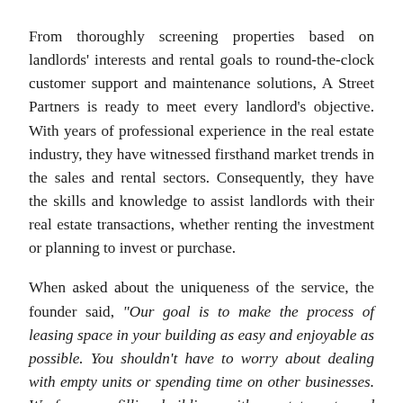From thoroughly screening properties based on landlords' interests and rental goals to round-the-clock customer support and maintenance solutions, A Street Partners is ready to meet every landlord's objective. With years of professional experience in the real estate industry, they have witnessed firsthand market trends in the sales and rental sectors. Consequently, they have the skills and knowledge to assist landlords with their real estate transactions, whether renting the investment or planning to invest or purchase.
When asked about the uniqueness of the service, the founder said, “Our goal is to make the process of leasing space in your building as easy and enjoyable as possible. You shouldn’t have to worry about dealing with empty units or spending time on other businesses. We focus on filling buildings with great tenants and ensuring the landlord is making the most they can out of their building while keeping their capital investment safe. The